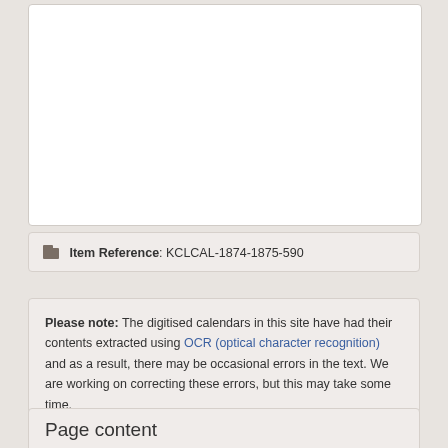[Figure (other): White rectangular image box, appears to be a scanned document page (blank/light content area)]
Item Reference: KCLCAL-1874-1875-590
Please note: The digitised calendars in this site have had their contents extracted using OCR (optical character recognition) and as a result, there may be occasional errors in the text. We are working on correcting these errors, but this may take some time.
Page content